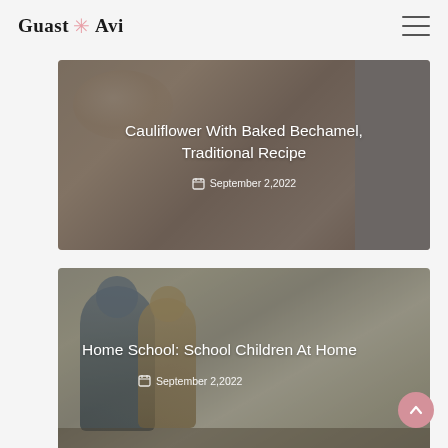Guast Avi
[Figure (photo): Blog card with a pasta dish photo overlaid with text: 'Cauliflower With Baked Bechamel, Traditional Recipe' dated September 2,2022]
Cauliflower With Baked Bechamel, Traditional Recipe
September 2,2022
[Figure (photo): Blog card with a photo of an adult and child studying together, overlaid with text: 'Home School: School Children At Home' dated September 2,2022]
Home School: School Children At Home
September 2,2022